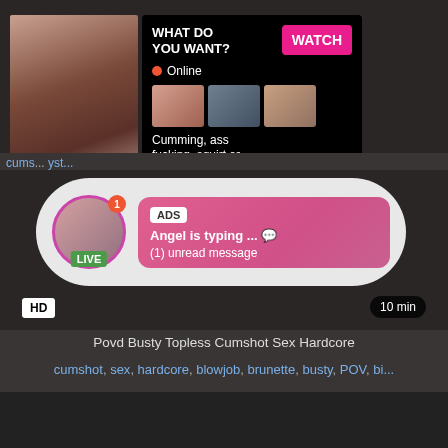[Figure (screenshot): Adult video website screenshot showing a video thumbnail with an ad overlay popup containing 'WHAT DO YOU WANT? WATCH' button, Online status, thumbnail previews, and text 'Cumming, ass fucking, squirt or... • ADS']
cums... yst...
[Figure (screenshot): Chat/live notification bubble showing avatar with LIVE badge, ADS tag, 'Angel is typing ... 💬' and '(1) unread message']
HD
10 min
Povd Busty Topless Cumshot Sex Hardcore
cumshot, sex, hardcore, blowjob, brunette, busty, POV, bi...